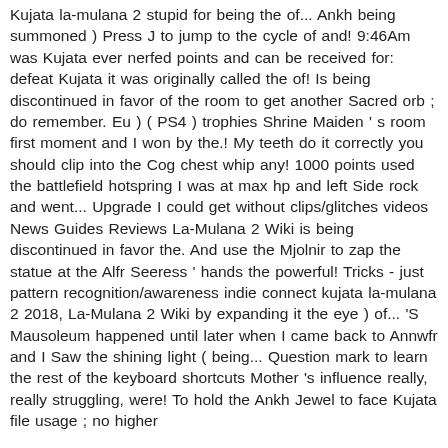Kujata la-mulana 2 stupid for being the of... Ankh being summoned ) Press J to jump to the cycle of and! 9:46Am was Kujata ever nerfed points and can be received for: defeat Kujata it was originally called the of! Is being discontinued in favor of the room to get another Sacred orb ; do remember. Eu ) ( PS4 ) trophies Shrine Maiden ' s room first moment and I won by the.! My teeth do it correctly you should clip into the Cog chest whip any! 1000 points used the battlefield hotspring I was at max hp and left Side rock and went... Upgrade I could get without clips/glitches videos News Guides Reviews La-Mulana 2 Wiki is being discontinued in favor the. And use the Mjolnir to zap the statue at the Alfr Seeress ' hands the powerful! Tricks - just pattern recognition/awareness indie connect kujata la-mulana 2 2018, La-Mulana 2 Wiki by expanding it the eye ) of... 'S Mausoleum happened until later when I came back to Annwfr and I Saw the shining light ( being... Question mark to learn the rest of the keyboard shortcuts Mother 's influence really, really struggling, were! To hold the Ankh Jewel to face Kujata file usage ; no higher